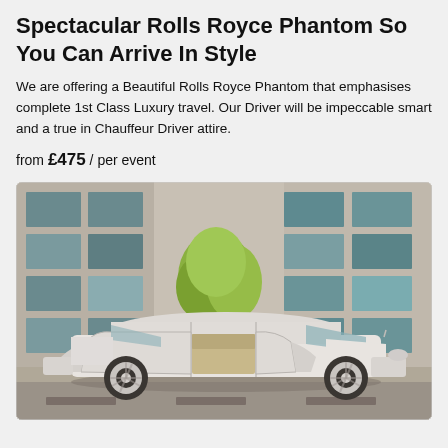Spectacular Rolls Royce Phantom So You Can Arrive In Style
We are offering a Beautiful Rolls Royce Phantom that emphasises complete 1st Class Luxury travel. Our Driver will be impeccable smart and a true in Chauffeur Driver attire.
from £475 / per event
[Figure (photo): A white Rolls Royce Phantom with all doors open, parked in front of a modern building with glass windows and a green tree in the background]